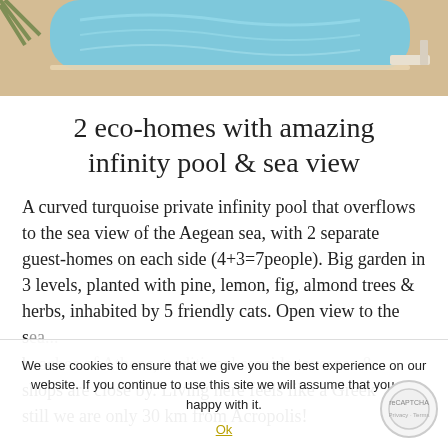[Figure (photo): Top portion of a swimming pool with turquoise water and surrounding deck/patio area, palm tree visible at top left corner]
2 eco-homes with amazing infinity pool & sea view
A curved turquoise private infinity pool that overflows to the sea view of the Aegean sea, with 2 separate guest-homes on each side (4+3=7people). Big garden in 3 levels, planted with pine, lemon, fig, almond trees & herbs, inhabited by 5 friendly cats. Open view to the s[...] beaches of Athens, traditional seaside tavernas & shops are close by. Living here feels like a Greek [...] still we are only 30 km from Acropolis!
We use cookies to ensure that we give you the best experience on our website. If you continue to use this site we will assume that you are happy with it.
Ok